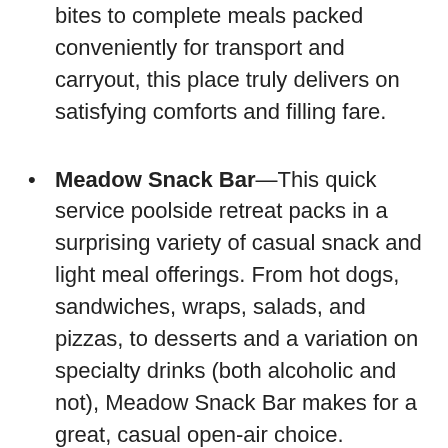bites to complete meals packed conveniently for transport and carryout, this place truly delivers on satisfying comforts and filling fare.
Meadow Snack Bar—This quick service poolside retreat packs in a surprising variety of casual snack and light meal offerings. From hot dogs, sandwiches, wraps, salads, and pizzas, to desserts and a variation on specialty drinks (both alcoholic and not), Meadow Snack Bar makes for a great, casual open-air choice.
Crockett's Tavern—This frontier-style lounge offers up plenty of good